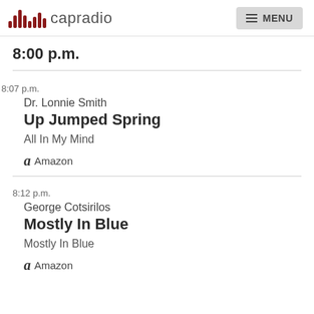capradio MENU
8:00 p.m.
8:07 p.m.
Dr. Lonnie Smith
Up Jumped Spring
All In My Mind
Amazon
8:12 p.m.
George Cotsirilos
Mostly In Blue
Mostly In Blue
Amazon